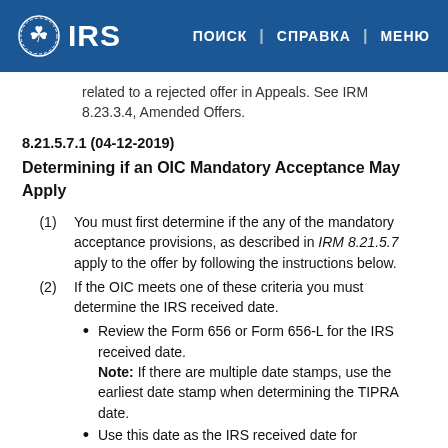IRS | ПОИСК | СПРАВКА | МЕНЮ
An offer submitted by a taxpayer which is related to a rejected offer in Appeals. See IRM 8.23.3.4, Amended Offers.
8.21.5.7.1 (04-12-2019)
Determining if an OIC Mandatory Acceptance May Apply
(1) You must first determine if the any of the mandatory acceptance provisions, as described in IRM 8.21.5.7 apply to the offer by following the instructions below.
(2) If the OIC meets one of these criteria you must determine the IRS received date.
Review the Form 656 or Form 656-L for the IRS received date. Note: If there are multiple date stamps, use the earliest date stamp when determining the TIPRA date.
Use this date as the IRS received date for